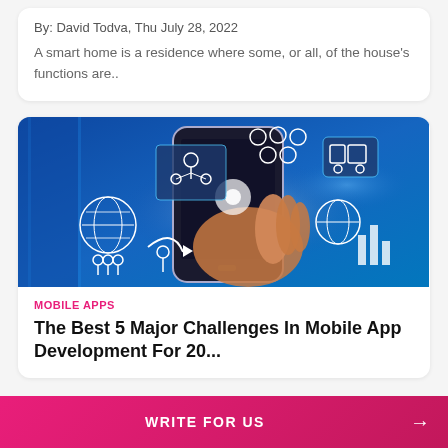By: David Todva, Thu July 28, 2022
A smart home is a residence where some, or all, of the house's functions are..
[Figure (photo): A hand holding a smartphone with digital icons floating around it including people, globe, train, charts, and technology symbols on a blue background]
MOBILE APPS
The Best 5 Major Challenges In Mobile App Development For 20...
WRITE FOR US →